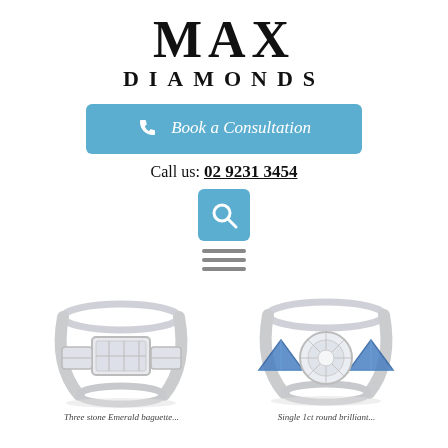MAX DIAMONDS
[Figure (other): Book a Consultation button with phone icon in blue]
Call us: 02 9231 3454
[Figure (other): Search icon button in blue]
[Figure (other): Hamburger menu icon (three horizontal lines)]
[Figure (photo): Three-stone emerald cut diamond ring in platinum setting]
[Figure (photo): Round brilliant diamond ring with blue sapphire side stones in platinum]
Three stone Emerald baguette...
Single 1ct round brilliant...